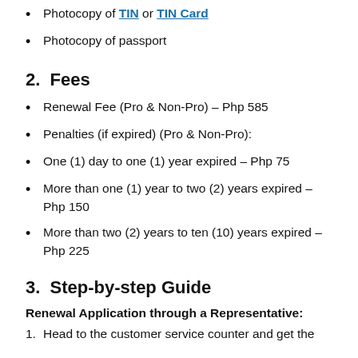Photocopy of TIN or TIN Card
Photocopy of passport
2.  Fees
Renewal Fee (Pro & Non-Pro) – Php 585
Penalties (if expired) (Pro & Non-Pro):
One (1) day to one (1) year expired – Php 75
More than one (1) year to two (2) years expired – Php 150
More than two (2) years to ten (10) years expired – Php 225
3.  Step-by-step Guide
Renewal Application through a Representative:
Head to the customer service counter and get the